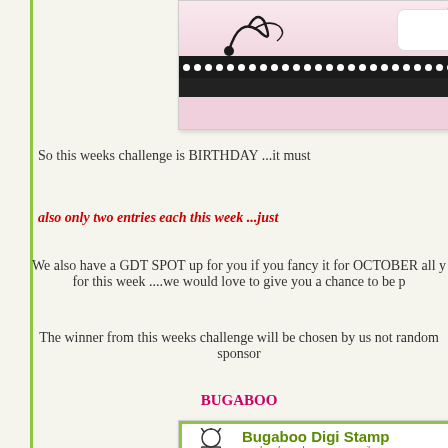[Figure (illustration): Top decorative image box with pink/polka-dot banner design and year 2017, partially visible at top of page]
So this weeks challenge is BIRTHDAY ...it must
also only two entries each this week ...just
We also have a GDT SPOT up for you if you fancy it for OCTOBER all y for this week ....we would love to give you a chance to be p
The winner from this weeks challenge will be chosen by us not random sponsor
BUGABOO
[Figure (logo): Bugaboo Digi Stamps advertisement with cartoon character, green border, tagline 'go ahead....make someone smile', 'Freebies every Friday!', www.bugaboostamps.com, Daily Deals and New collections buttons]